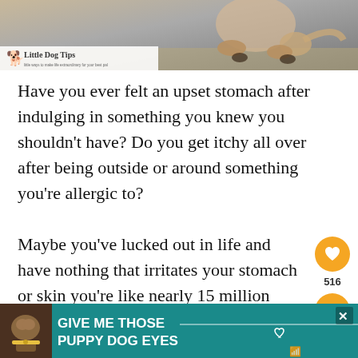[Figure (photo): Banner photo of a dog scratching itself on a floor, with Little Dog Tips logo overlay at bottom left]
Have you ever felt an upset stomach after indulging in something you knew you shouldn't have? Do you get itchy all over after being outside or around something you're allergic to?
Maybe you've lucked out in life and have nothing that irritates your stomach or skin you're like nearly 15 million Americans in the wo... re...
[Figure (infographic): Teal advertisement bar at bottom reading GIVE ME THOSE PUPPY DOG EYES with a dog photo on the left, heart outline, close button and X button]